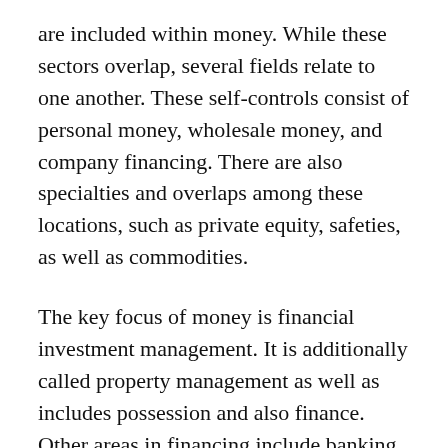are included within money. While these sectors overlap, several fields relate to one another. These self-controls consist of personal money, wholesale money, and company financing. There are also specialties and overlaps among these locations, such as private equity, safeties, as well as commodities.
The key focus of money is financial investment management. It is additionally called property management as well as includes possession and also finance. Other areas in financing include banking, financial investment financial, and also safeties trading. On top of that, there are several kinds of money, including public, individual, as well as company. Normally, there are 5 major fields in finance. Various other areas overlap, however, essentially in line in terms as well as in the th